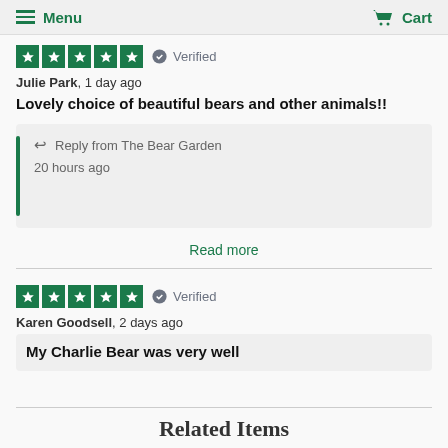Menu  Cart
[Figure (other): Five green star rating boxes (Trustpilot style) with Verified badge]
Julie Park, 1 day ago
Lovely choice of beautiful bears and other animals!!
Reply from The Bear Garden
20 hours ago
Read more
[Figure (other): Five green star rating boxes (Trustpilot style) with Verified badge]
Karen Goodsell, 2 days ago
My Charlie Bear was very well
Related Items